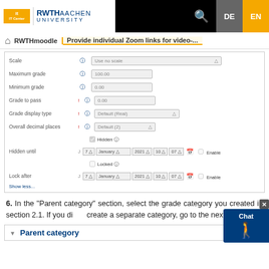RWTH Aachen University | IT Center — RWTHmoodle | Provide individual Zoom links for video-... | DE | EN
[Figure (screenshot): Moodle grade settings form showing fields: Scale, Maximum grade (100.00), Minimum grade (0.00), Grade to pass (0.00), Grade display type (Default (Real)), Overall decimal places (Default (2)), Hidden checkbox, Hidden until with date fields (7, January, 2021, 10, 07, Enable), Locked checkbox, Lock after with date fields (7, January, 2021, 10, 07, Enable), Show less link]
6. In the "Parent category" section, select the grade category you created in section 2.1. If you didn't create a separate category, go to the next step.
Parent category